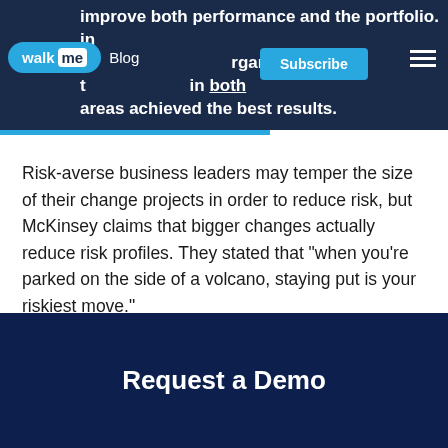improve both performance and the portfolio. in organizations t... in both areas achieved the best results.
Risk-averse business leaders may temper the size of their change projects in order to reduce risk, but McKinsey claims that bigger changes actually reduce risk profiles. They stated that “when you’re parked on the side of a volcano, staying put is your riskiest move.”
Request a Demo